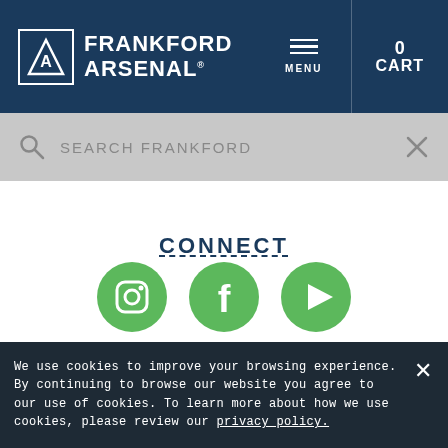Frankford Arsenal - Menu - 0 Cart
SEARCH FRANKFORD
CONNECT
[Figure (logo): Three green circular social media icons: Instagram, Facebook, and YouTube play button]
ESOURCES
ARTNER WITH US
We use cookies to improve your browsing experience. By continuing to browse our website you agree to our use of cookies. To learn more about how we use cookies, please review our privacy policy.